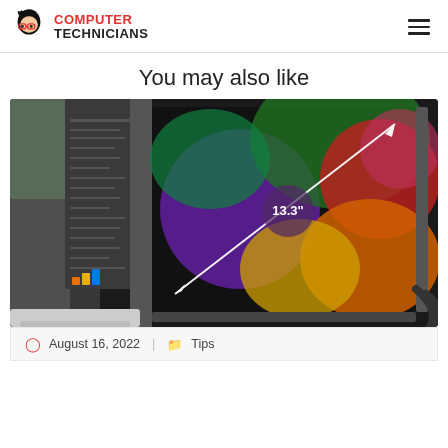COMPUTER TECHNICIANS
You may also like
[Figure (photo): A portable 13.3 inch monitor displayed next to a laptop showing Photoshop, with a diagonal measurement arrow and the text 13.3" displayed on the colorful screen.]
August 16, 2022  |  Tips